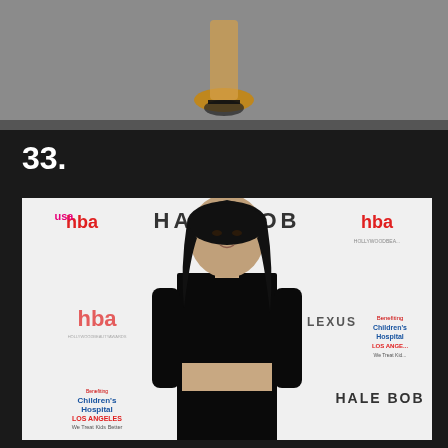[Figure (photo): Partial photo at top of page showing feet/shoes and gray carpet background]
33.
[Figure (photo): Woman with long dark hair wearing a black crop top and black skirt posing at a Hale Bob event with Children's Hospital Los Angeles branding on the backdrop]